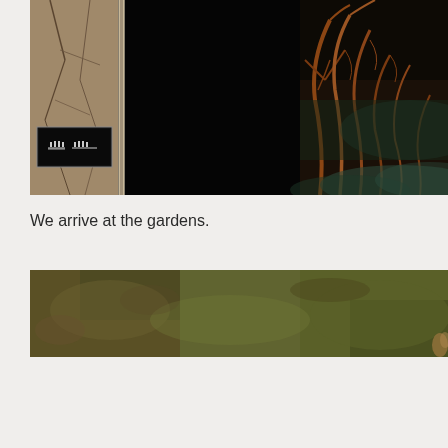[Figure (screenshot): A dark fantasy game screenshot showing a cracked stone/earth wall panel on the left with a small pixel-art icon (eyes/face), a black area in the center-left, and dark reddish-brown twisted bare trees with misty teal-green background on the right side.]
We arrive at the gardens.
[Figure (screenshot): A cropped game screenshot showing an olive-green and brown textured ground/terrain, partially cut off at the bottom.]